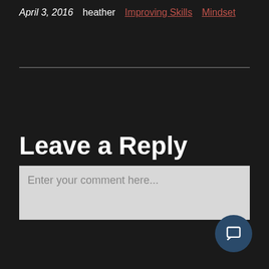April 3, 2016   heather   Improving Skills   Mindset
Leave a Reply
Enter your comment here...
[Figure (other): Circular dark blue chat/comment button with speech bubble icon in bottom-right corner]